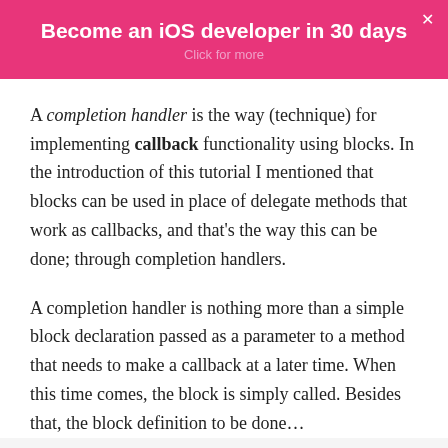Become an iOS developer in 30 days
Click for more
A completion handler is the way (technique) for implementing callback functionality using blocks. In the introduction of this tutorial I mentioned that blocks can be used in place of delegate methods that work as callbacks, and that’s the way this can be done; through completion handlers.
A completion handler is nothing more than a simple block declaration passed as a parameter to a method that needs to make a callback at a later time. When this time comes, the block is simply called. Besides that, the block definition to be done…